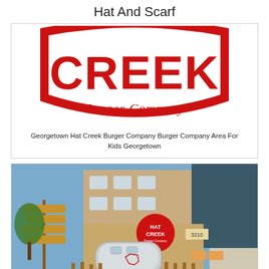Hat And Scarf
[Figure (logo): Hat Creek Burger Company logo — large red letters CREEK on white background with red oval border and cursive red text below]
Georgetown Hat Creek Burger Company Burger Company Area For Kids Georgetown
[Figure (photo): Exterior photo of Hat Creek Burger Company restaurant showing a silver Airstream trailer, wooden fence, signpost with directional signs, and the brick building facade with Hat Creek logo sign and address 3210]